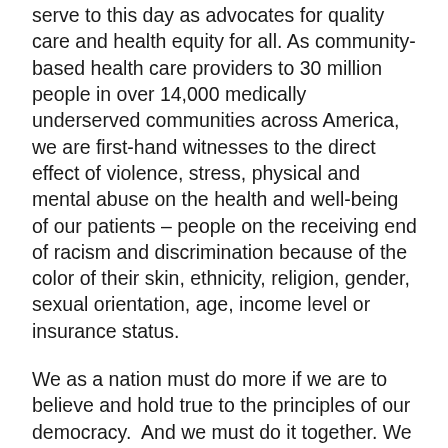serve to this day as advocates for quality care and health equity for all. As community-based health care providers to 30 million people in over 14,000 medically underserved communities across America, we are first-hand witnesses to the direct effect of violence, stress, physical and mental abuse on the health and well-being of our patients – people on the receiving end of racism and discrimination because of the color of their skin, ethnicity, religion, gender, sexual orientation, age, income level or insurance status.
We as a nation must do more if we are to believe and hold true to the principles of our democracy.  And we must do it together. We must usher in real change to protect and improve the lives of all people – from our local policing practices to our judicial and legal systems, to our educational institutions, to our health care systems. Most importantly, we must move forward public policies at local, state and national levels that reflect the true needs and priorities of a country in crisis.
Community Health Centers were created for and by the communities they serve. We are ready to work for